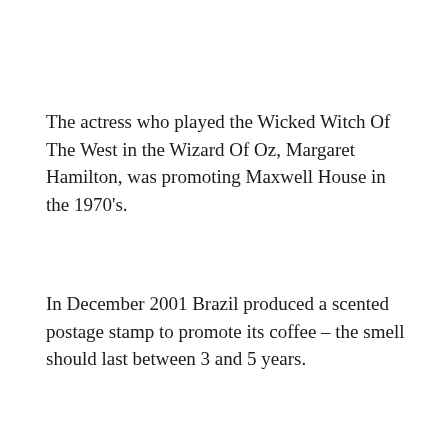The actress who played the Wicked Witch Of The West in the Wizard Of Oz, Margaret Hamilton, was promoting Maxwell House in the 1970's.
In December 2001 Brazil produced a scented postage stamp to promote its coffee – the smell should last between 3 and 5 years.